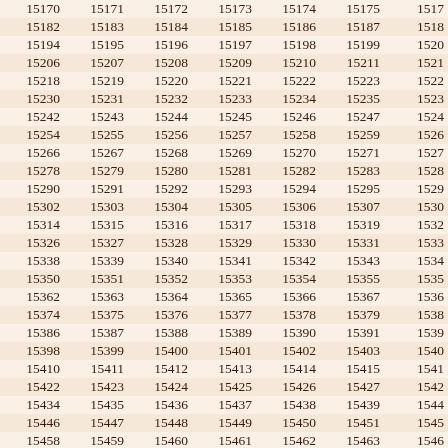| 15170 | 15171 | 15172 | 15173 | 15174 | 15175 | 1517 |
| 15182 | 15183 | 15184 | 15185 | 15186 | 15187 | 1518 |
| 15194 | 15195 | 15196 | 15197 | 15198 | 15199 | 1520 |
| 15206 | 15207 | 15208 | 15209 | 15210 | 15211 | 1521 |
| 15218 | 15219 | 15220 | 15221 | 15222 | 15223 | 1522 |
| 15230 | 15231 | 15232 | 15233 | 15234 | 15235 | 1523 |
| 15242 | 15243 | 15244 | 15245 | 15246 | 15247 | 1524 |
| 15254 | 15255 | 15256 | 15257 | 15258 | 15259 | 1526 |
| 15266 | 15267 | 15268 | 15269 | 15270 | 15271 | 1527 |
| 15278 | 15279 | 15280 | 15281 | 15282 | 15283 | 1528 |
| 15290 | 15291 | 15292 | 15293 | 15294 | 15295 | 1529 |
| 15302 | 15303 | 15304 | 15305 | 15306 | 15307 | 1530 |
| 15314 | 15315 | 15316 | 15317 | 15318 | 15319 | 1532 |
| 15326 | 15327 | 15328 | 15329 | 15330 | 15331 | 1533 |
| 15338 | 15339 | 15340 | 15341 | 15342 | 15343 | 1534 |
| 15350 | 15351 | 15352 | 15353 | 15354 | 15355 | 1535 |
| 15362 | 15363 | 15364 | 15365 | 15366 | 15367 | 1536 |
| 15374 | 15375 | 15376 | 15377 | 15378 | 15379 | 1538 |
| 15386 | 15387 | 15388 | 15389 | 15390 | 15391 | 1539 |
| 15398 | 15399 | 15400 | 15401 | 15402 | 15403 | 1540 |
| 15410 | 15411 | 15412 | 15413 | 15414 | 15415 | 1541 |
| 15422 | 15423 | 15424 | 15425 | 15426 | 15427 | 1542 |
| 15434 | 15435 | 15436 | 15437 | 15438 | 15439 | 1544 |
| 15446 | 15447 | 15448 | 15449 | 15450 | 15451 | 1545 |
| 15458 | 15459 | 15460 | 15461 | 15462 | 15463 | 1546 |
| 15470 | 15471 | 15472 | 15473 | 15474 | 15475 | 1547 |
| 15482 | 15483 | 15484 | 15485 | 15486 | 15487 | 1548 |
| 15494 | 15495 | 15496 | 15497 | 15498 | 15499 | 1550 |
| 15506 | 15507 | 15508 | 15509 | 15510 | 15511 | 1551 |
| 15518 | 15519 | 15520 | 15521 | 15522 | 15523 | 1552 |
| 15530 | 15531 | 15532 | 15533 | 15534 | 15535 | 1553 |